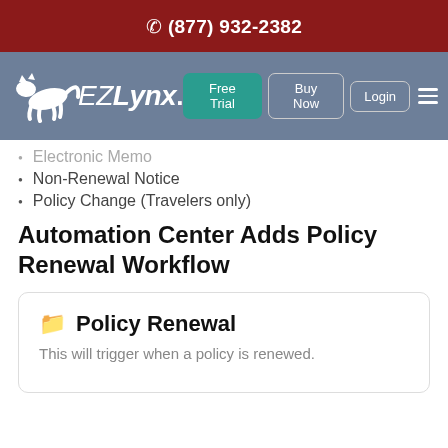📞 (877) 932-2382
[Figure (logo): EZLynx logo with leaping lynx cat and navigation buttons: Free Trial, Buy Now, Login, Hamburger menu]
Electronic Memo (partially visible, strikethrough)
Non-Renewal Notice
Policy Change (Travelers only)
Automation Center Adds Policy Renewal Workflow
🗂 Policy Renewal
This will trigger when a policy is renewed.